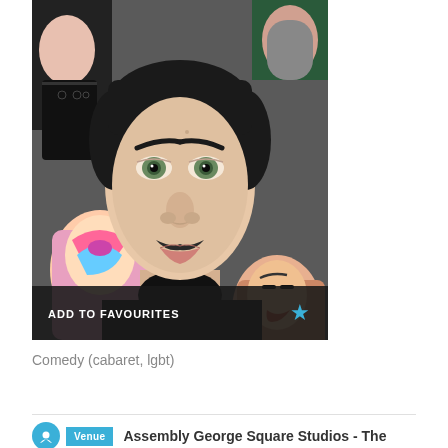[Figure (photo): A close-up group selfie photo showing a young man with a moustache and green eyes in the foreground, with several other people in heavy makeup around him. A dark semi-transparent bar at the bottom reads 'ADD TO FAVOURITES' with a blue star icon.]
Comedy (cabaret, lgbt)
Venue
Assembly George Square Studios - The